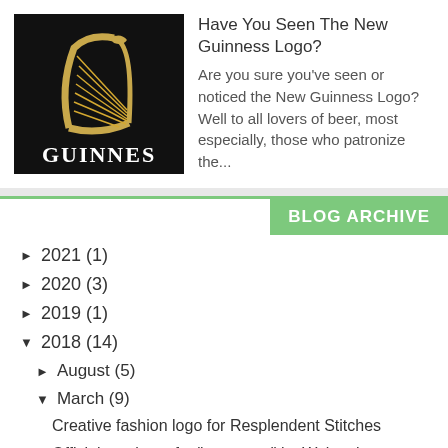[Figure (logo): Guinness logo image showing a golden harp on black background with GUINNESS text]
Have You Seen The New Guinness Logo?
Are you sure you've seen or noticed the New Guinness Logo? Well to all lovers of beer, most especially, those who patronize the...
BLOG ARCHIVE
► 2021 (1)
► 2020 (3)
► 2019 (1)
▼ 2018 (14)
► August (5)
▼ March (9)
Creative fashion logo for Resplendent Stitches
Official music art for "one more" by Wakemi
Creative logo design for event planning
Creative logo design for Tamunor In.c